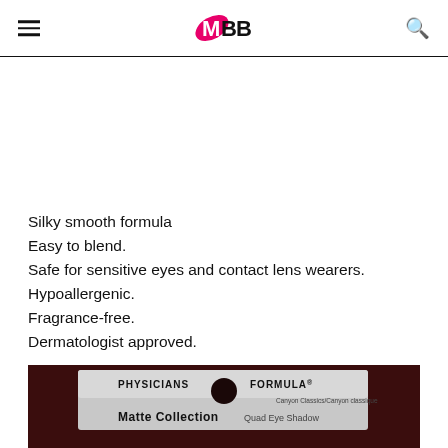IMBB (logo)
Silky smooth formula
Easy to blend.
Safe for sensitive eyes and contact lens wearers.
Hypoallergenic.
Fragrance-free.
Dermatologist approved.
[Figure (photo): Photo of Physicians Formula Canyon Classics Matte Collection Quad Eye Shadow packaging on dark burgundy leather background.]